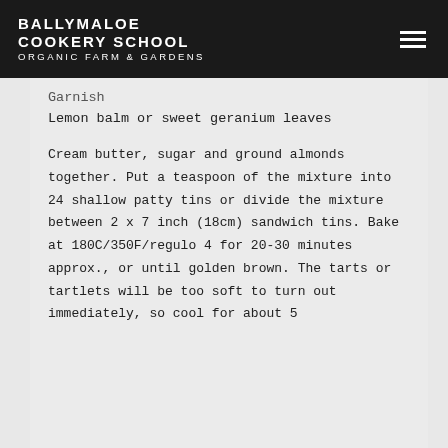BALLYMALOE COOKERY SCHOOL ORGANIC FARM & GARDENS
Garnish
Lemon balm or sweet geranium leaves
Cream butter, sugar and ground almonds together. Put a teaspoon of the mixture into 24 shallow patty tins or divide the mixture between 2 x 7 inch (18cm) sandwich tins. Bake at 180C/350F/regulo 4 for 20-30 minutes approx., or until golden brown. The tarts or tartlets will be too soft to turn out immediately, so cool for about 5